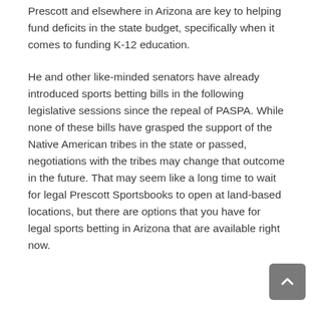Prescott and elsewhere in Arizona are key to helping fund deficits in the state budget, specifically when it comes to funding K-12 education.
He and other like-minded senators have already introduced sports betting bills in the following legislative sessions since the repeal of PASPA. While none of these bills have grasped the support of the Native American tribes in the state or passed, negotiations with the tribes may change that outcome in the future. That may seem like a long time to wait for legal Prescott Sportsbooks to open at land-based locations, but there are options that you have for legal sports betting in Arizona that are available right now.